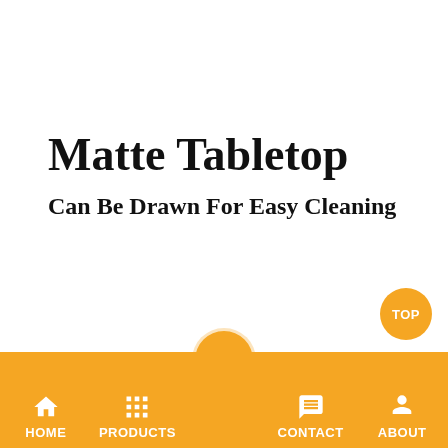Matte Tabletop
Can Be Drawn For Easy Cleaning
[Figure (screenshot): Mobile website navigation bar with orange background showing HOME, PRODUCTS, CONTACT, ABOUT icons and a center circle button, plus a TOP button in orange circle]
HOME  PRODUCTS  CONTACT  ABOUT